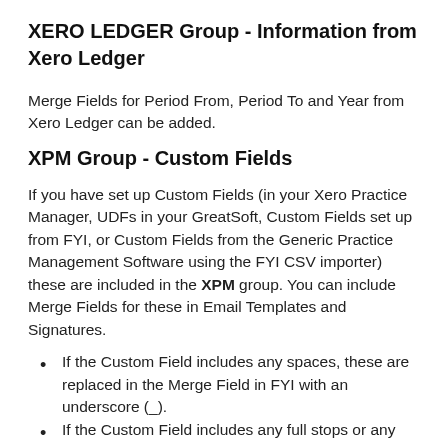XERO LEDGER Group - Information from Xero Ledger
Merge Fields for Period From, Period To and Year from Xero Ledger can be added.
XPM Group - Custom Fields
If you have set up Custom Fields (in your Xero Practice Manager, UDFs in your GreatSoft, Custom Fields set up from FYI, or Custom Fields from the Generic Practice Management Software using the FYI CSV importer) these are included in the XPM group. You can include Merge Fields for these in Email Templates and Signatures.
If the Custom Field includes any spaces, these are replaced in the Merge Field in FYI with an underscore (_).
If the Custom Field includes any full stops or any